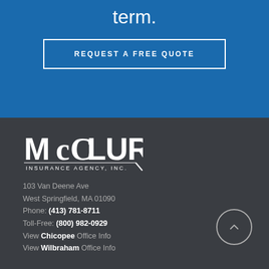term.
REQUEST A FREE QUOTE
[Figure (logo): McClure Insurance Agency, Inc. logo in white on dark background]
103 Van Deene Ave
West Springfield, MA 01090
Phone: (413) 781-8711
Toll-Free: (800) 982-0929
View Chicopee Office Info
View Wilbraham Office Info